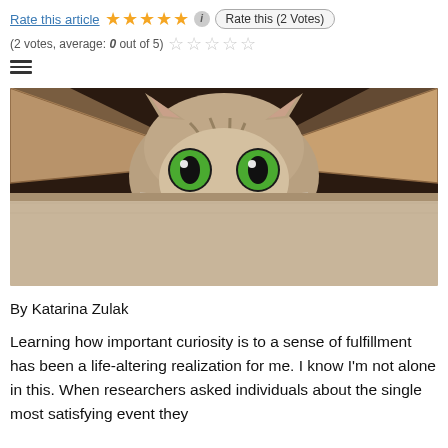Rate this article ★★★★★ ⓘ Rate this (2 Votes)
(2 votes, average: 0 out of 5)
[Figure (photo): A tabby cat with large green eyes peeking over the edge of a cardboard box, looking curious and alert.]
By Katarina Zulak
Learning how important curiosity is to a sense of fulfillment has been a life-altering realization for me. I know I'm not alone in this. When researchers asked individuals about the single most satisfying event they